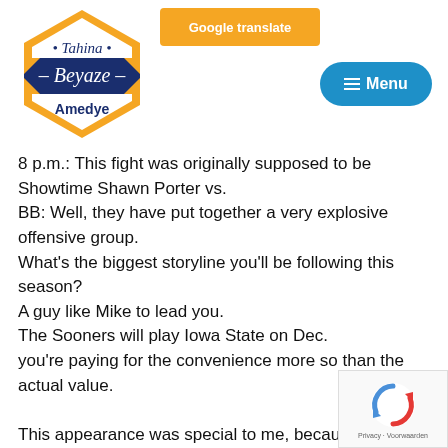[Figure (logo): Tahina Beyaze Amedye hexagon logo with gold border, navy blue band]
[Figure (screenshot): Orange Google translate button]
[Figure (screenshot): Blue Menu button with hamburger icon]
8 p.m.: This fight was originally supposed to be Showtime Shawn Porter vs.
BB: Well, they have put together a very explosive offensive group.
What's the biggest storyline you'll be following this season?
A guy like Mike to lead you.
The Sooners will play Iowa State on Dec.
you're paying for the convenience more so than the actual value.

This appearance was special to me, because it was the f
[Figure (logo): reCAPTCHA badge with rotating arrows icon and Privacy - Voorwaarden text]